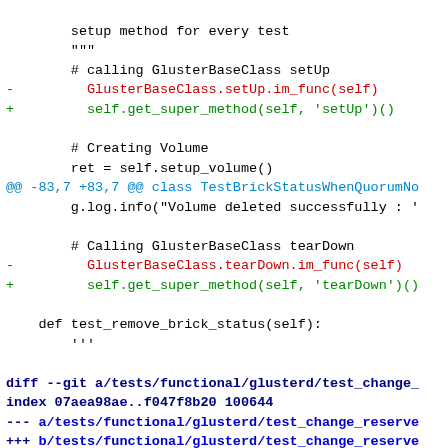Code diff showing changes to glusterd test files
setup method for every test
"""
# calling GlusterBaseClass setUp
- GlusterBaseClass.setUp.im_func(self)
+ self.get_super_method(self, 'setUp')()

# Creating Volume
ret = self.setup_volume()
@@ -83,7 +83,7 @@ class TestBrickStatusWhenQuorumNo
g.log.info("Volume deleted successfully : '

# Calling GlusterBaseClass tearDown
- GlusterBaseClass.tearDown.im_func(self)
+ self.get_super_method(self, 'tearDown')()

def test_remove_brick_status(self):
    '''

diff --git a/tests/functional/glusterd/test_change_
index 07aea98ae..f047f8b20 100644
--- a/tests/functional/glusterd/test_change_reserve
+++ b/tests/functional/glusterd/test_change_reserve
@@ -14,7 +14,10 @@
 #  with this program; if not, write to the Free So
 #  51 Franklin Street, Fifth Floor, Boston, MA 021

+import sys
+
 from glusto.core import Glusto as g
+
 from gluttolibs.gluster.gluster_base_class import